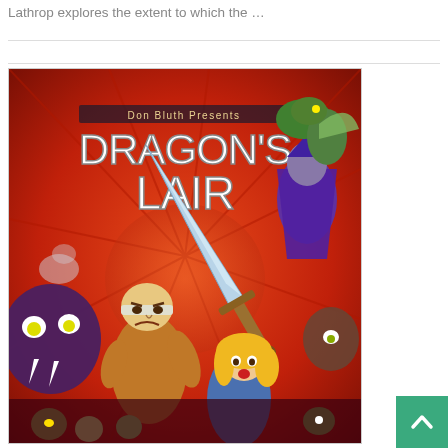Lathrop explores the extent to which the …
[Figure (illustration): Cover art for 'Don Bluth Presents Dragon's Lair' animated series — shows a knight holding a large sword surrounded by monsters and a blonde princess against a red swirling background.]
[Figure (other): Teal/green scroll-to-top button with upward-pointing chevron arrow in the bottom-right corner.]